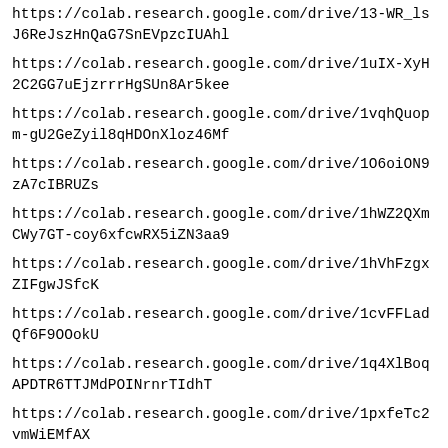https://colab.research.google.com/drive/13-WR_lsJ6ReJszHnQaG7SnEVpzcIUAhl
https://colab.research.google.com/drive/1uIX-XyH2C2GG7uEjzrrrHgSUn8Ar5kee
https://colab.research.google.com/drive/1vqhQuopm-gU2GeZyil8qHDOnXloz46Mf
https://colab.research.google.com/drive/1O6oiON9zA7cIBRUZs...
https://colab.research.google.com/drive/1hWZ2QXmCWy7GT-coy6xfcwRX5iZN3aa9
https://colab.research.google.com/drive/1hVhFzgxZIFgwJSfcK...
https://colab.research.google.com/drive/1cvFFLadQf6F9OOokU...
https://colab.research.google.com/drive/1q4XlBoqAPDTR6TTJMdPOINrnrTIdhT
https://colab.research.google.com/drive/1pxfeTc2vmWiEMfAX...
https://colab.research.google.com/drive/1GikhZdoYSjE8tbmvJr...
https://colab.research.google.com/drive/1ajML_RltjJbQdgCzyW...
https://colab.research.google.com/drive/1O_KCy0fschVzNaYG7...
https://colab.research.google.com/drive/1BqFu6omElClZQThEK...
https://colab.research.google.com/drive/...